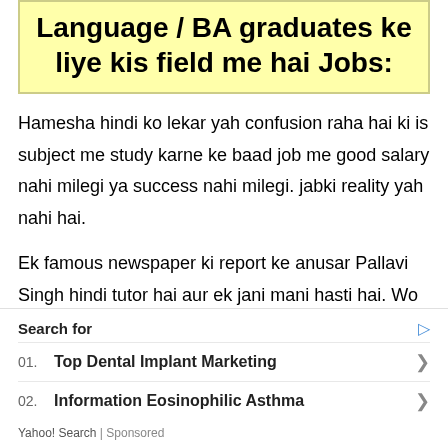Language / BA graduates ke liye kis field me hai Jobs:
Hamesha hindi ko lekar yah confusion raha hai ki is subject me study karne ke baad job me good salary nahi milegi ya success nahi milegi. jabki reality yah nahi hai.
Ek famous newspaper ki report ke anusar Pallavi Singh hindi tutor hai aur ek jani mani hasti hai. Wo videsho me & hollywood ki kai celebrities ko Hindi
Search for
01. Top Dental Implant Marketing
02. Information Eosinophilic Asthma
Yahoo! Search | Sponsored